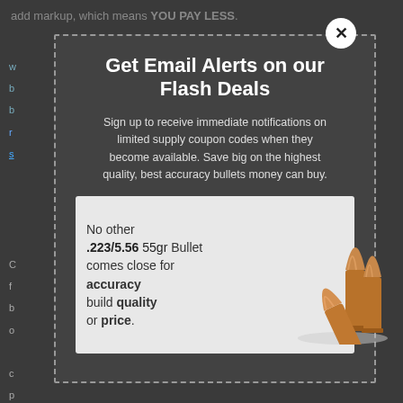add markup, which means YOU PAY LESS.
Get Email Alerts on our Flash Deals
Sign up to receive immediate notifications on limited supply coupon codes when they become available. Save big on the highest quality, best accuracy bullets money can buy.
[Figure (photo): Photo of copper .223/5.56 55gr bullets with text overlay: 'No other .223/5.56 55gr Bullet comes close for accuracy build quality or price.']